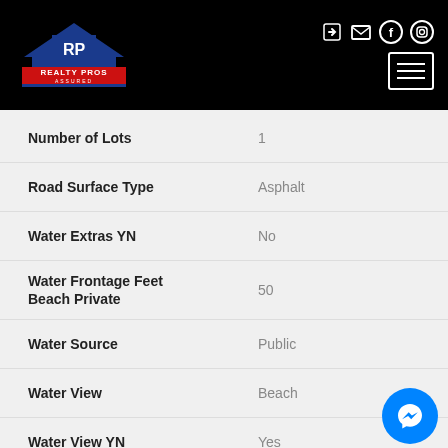Realty Pros Assured
| Property | Value |
| --- | --- |
| Number of Lots | 1 |
| Road Surface Type | Asphalt |
| Water Extras YN | No |
| Water Frontage Feet Beach Private | 50 |
| Water Source | Public |
| Water View | Beach |
| Water View YN | Yes |